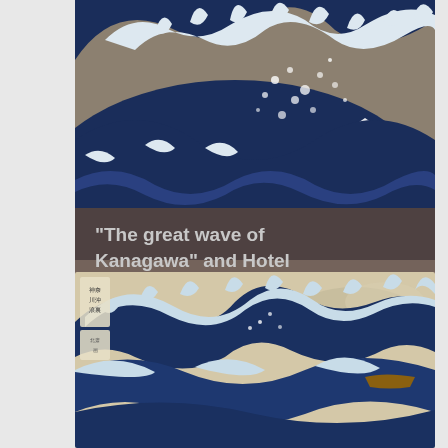[Figure (illustration): Close-up crop of 'The Great Wave off Kanagawa' by Hokusai — dark blue wave with white foam tips, grey-brown sky with white dots, and Mount Fuji visible in the background with a boat.]
“The great wave of Kanagawa” and Hotel
[Figure (illustration): Full view of 'The Great Wave off Kanagawa' by Hokusai — large curling wave in blue and white with smaller waves, Mount Fuji in the background, boats visible, Japanese text cartouche in upper left, warm beige sky.]